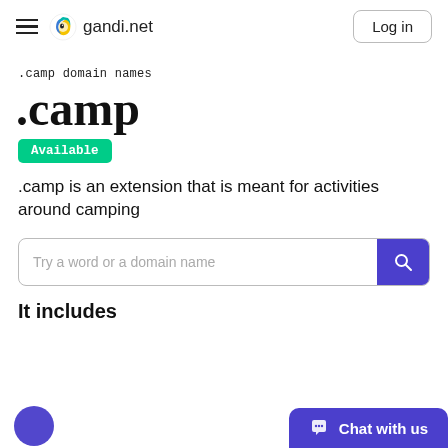gandi.net — Log in
.camp domain names
.camp
Available
.camp is an extension that is meant for activities around camping
Try a word or a domain name
It includes
Chat with us